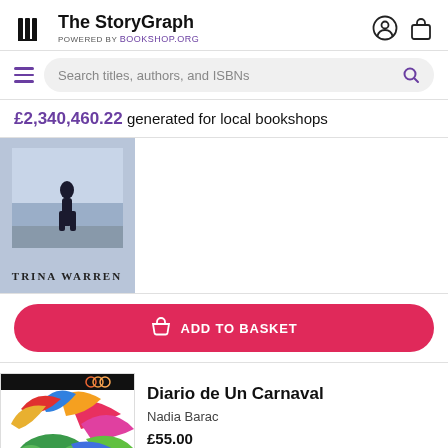The StoryGraph — POWERED BY Bookshop.org
£2,340,460.22 generated for local bookshops
[Figure (photo): Book cover with a person standing at the shore, text 'Trina Warren' visible]
ADD TO BASKET
[Figure (photo): Book cover for Diario de Un Carnaval by Nadia Barac, featuring colorful carnival masks and confetti]
Diario de Un Carnaval
Nadia Barac
£55.00